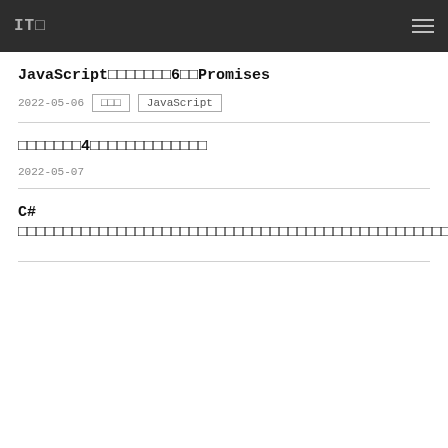IT□
JavaScript□□□□□□□6□□Promises
2022-05-06  □□□  JavaScript
□□□□□□□4□□□□□□□□□□□□□
2022-05-07
C# □□□□□□□□□□□□□□□□□□□□□□□□□□□□□□□□□□□□□□□□□□□□□□□□□□□□□□□□□□□□□□□□□□□□□□□□□□□□□□□□□□□□□□□□□□□□□□□□□□□□□□□□□□□□□□□□□□□□□□□□□□□□□□□□□□□□□□□□□□□□□□□□□□□□□□□□□□□□□□□□□□□□□□□□□□□□□□□□□□□□□□□□□□□□□□□□□□□□□□□□□□□□□□□□□□□□□□□□□□□□□□□□
2022-05-07  C#
□□□□□□□□□□□□□□ Web □□□□□□□□□□□□□□□
2022-05-08  □□□  □□